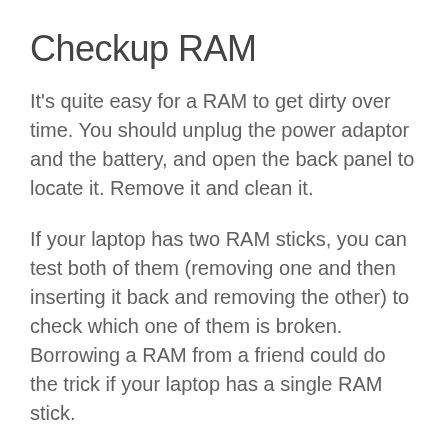Checkup RAM
It's quite easy for a RAM to get dirty over time. You should unplug the power adaptor and the battery, and open the back panel to locate it. Remove it and clean it.
If your laptop has two RAM sticks, you can test both of them (removing one and then inserting it back and removing the other) to check which one of them is broken. Borrowing a RAM from a friend could do the trick if your laptop has a single RAM stick.
By cleaning the RAM, the odds are high you'll solve